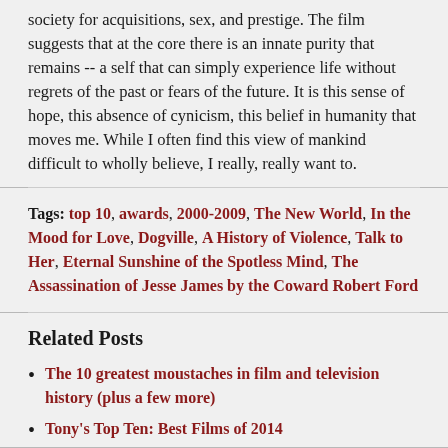society for acquisitions, sex, and prestige. The film suggests that at the core there is an innate purity that remains -- a self that can simply experience life without regrets of the past or fears of the future. It is this sense of hope, this absence of cynicism, this belief in humanity that moves me. While I often find this view of mankind difficult to wholly believe, I really, really want to.
Tags: top 10, awards, 2000-2009, The New World, In the Mood for Love, Dogville, A History of Violence, Talk to Her, Eternal Sunshine of the Spotless Mind, The Assassination of Jesse James by the Coward Robert Ford
Related Posts
The 10 greatest moustaches in film and television history (plus a few more)
Tony's Top Ten: Best Films of 2014